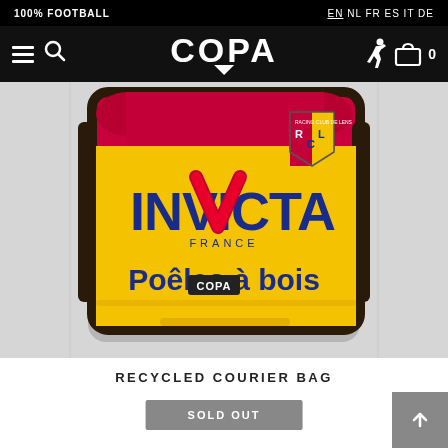100% FOOTBALL | EN NL FR ES IT DE | COPA | 0
[Figure (photo): Yellow and red messenger/courier bag with 'INVICTA FRANCE' branding, 'Poêles à bois' text, RCL (Racing Club de Lens) shield badge, and a COPA logo sticker on the front.]
RECYCLED COURIER BAG
SOLD OUT